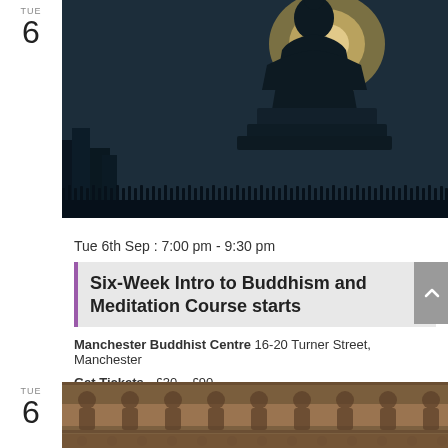TUE 6
[Figure (photo): Silhouette of a Buddha statue against a glowing halo-like light in a dark blue-grey sky, with architectural ruins in the foreground]
Tue 6th Sep : 7:00 pm - 9:30 pm
Six-Week Intro to Buddhism and Meditation Course starts
Manchester Buddhist Centre 16-20 Turner Street, Manchester
Get Tickets £30 – £90
TUE 6
[Figure (photo): Stone relief carving showing a row of seated figures with ornate decorative detail, brown/tan tones]